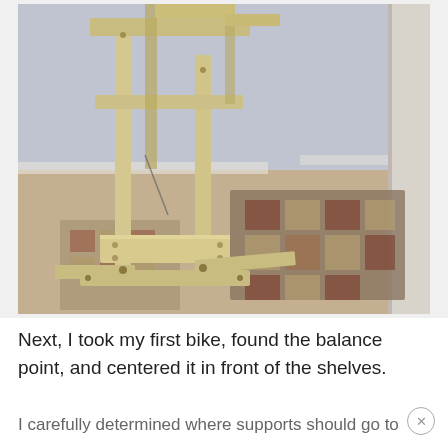[Figure (photo): A wooden shelving unit or bike storage stand made of light-colored wood boards, sitting on a carpeted floor in a corner room with lavender/gray walls and a patterned area rug.]
Next, I took my first bike, found the balance point, and centered it in front of the shelves.
I carefully determined where supports should go to